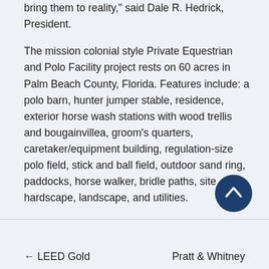bring them to reality,” said Dale R. Hedrick, President.
The mission colonial style Private Equestrian and Polo Facility project rests on 60 acres in Palm Beach County, Florida. Features include: a polo barn, hunter jumper stable, residence, exterior horse wash stations with wood trellis and bougainvillea, groom’s quarters, caretaker/equipment building, regulation-size polo field, stick and ball field, outdoor sand ring, paddocks, horse walker, bridle paths, site hardscape, landscape, and utilities.
← LEED Gold    Pratt & Whitney